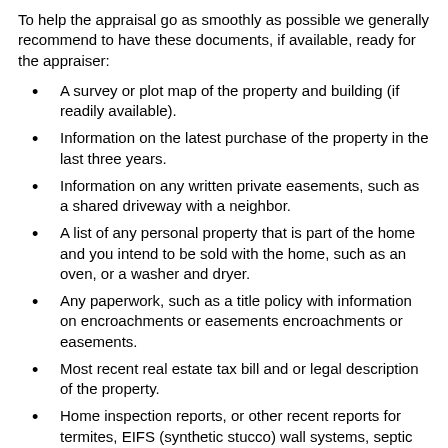To help the appraisal go as smoothly as possible we generally recommend to have these documents, if available, ready for the appraiser:
A survey or plot map of the property and building (if readily available).
Information on the latest purchase of the property in the last three years.
Information on any written private easements, such as a shared driveway with a neighbor.
A list of any personal property that is part of the home and you intend to be sold with the home, such as an oven, or a washer and dryer.
Any paperwork, such as a title policy with information on encroachments or easements encroachments or easements.
Most recent real estate tax bill and or legal description of the property.
Home inspection reports, or other recent reports for termites, EIFS (synthetic stucco) wall systems, septic systems and wells.
Brag sheet that lists major home improvements and upgrades, the amount of their purchase and date of their installation (for example, the addition of central air conditioning or roof repairs) and permit confirmation (if available).
A copy of the current listing agreement with broker's data sheet